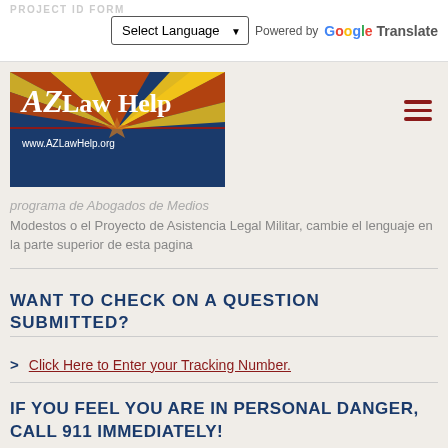PROJECT ID FORM
[Figure (logo): AZLawHelp logo with Arizona flag background, text AZ LAW HELP and www.AZLawHelp.org]
programa de Abogados de Medios Modestos o el Proyecto de Asistencia Legal Militar, cambie el lenguaje en la parte superior de esta pagina
WANT TO CHECK ON A QUESTION SUBMITTED?
Click Here to Enter your Tracking Number.
IF YOU FEEL YOU ARE IN PERSONAL DANGER, CALL 911 IMMEDIATELY!